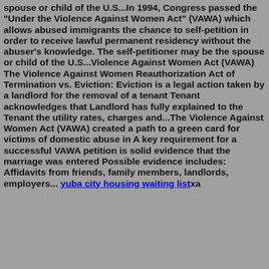spouse or child of the U.S...In 1994, Congress passed the "Under the Violence Against Women Act" (VAWA) which allows abused immigrants the chance to self-petition in order to receive lawful permanent residency without the abuser's knowledge. The self-petitioner may be the spouse or child of the U.S...Violence Against Women Act (VAWA) The Violence Against Women Reauthorization Act of Termination vs. Eviction: Eviction is a legal action taken by a landlord for the removal of a tenant Tenant acknowledges that Landlord has fully explained to the Tenant the utility rates, charges and...The Violence Against Women Act (VAWA) created a path to a green card for victims of domestic abuse in A key requirement for a successful VAWA petition is solid evidence that the marriage was entered Possible evidence includes: Affidavits from friends, family members, landlords, employers... yuba city housing waiting listxa